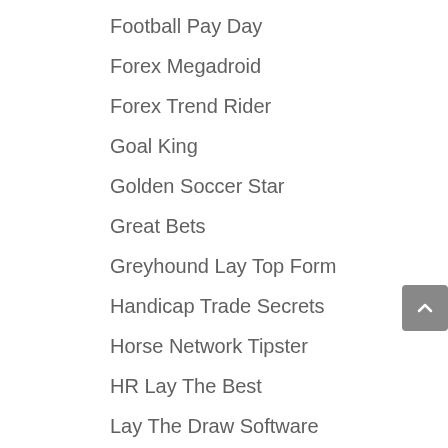Football Pay Day
Forex Megadroid
Forex Trend Rider
Goal King
Golden Soccer Star
Great Bets
Greyhound Lay Top Form
Handicap Trade Secrets
Horse Network Tipster
HR Lay The Best
Lay The Draw Software
Layers Of Profit
London Forex Open
Mining City